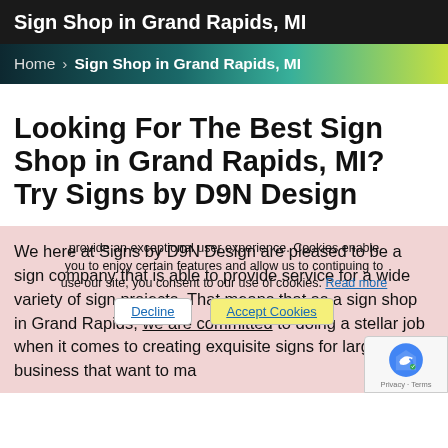Sign Shop in Grand Rapids, MI
Home > Sign Shop in Grand Rapids, MI
Looking For The Best Sign Shop in Grand Rapids, MI? Try Signs by D9N Design
We here at Signs by D9N Design are pleased to be a sign company that is able to provide service for a wide variety of sign projects. That means that as a sign shop in Grand Rapids, we are committed to doing a stellar job when it comes to creating exquisite signs for large business that want to ma
provide an exceptional user experience. Cookies enable you to enjoy certain features and allow us to continuing to use our site, you consent to our use of cookies. Read more
Decline   Accept Cookies